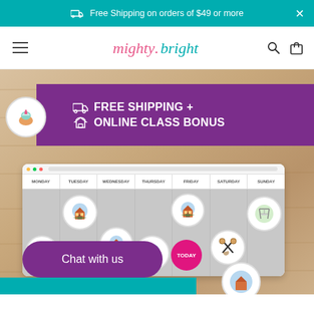Free Shipping on orders of $49 or more
[Figure (screenshot): Mighty Bright website navigation bar with hamburger menu, logo, search and cart icons]
[Figure (screenshot): Hero promotional banner with purple ribbon saying FREE SHIPPING + ONLINE CLASS BONUS over a wood-grain background with a weekly calendar showing badge magnets for Monday through Sunday including school, scissors, playground and a TODAY marker]
Chat with us